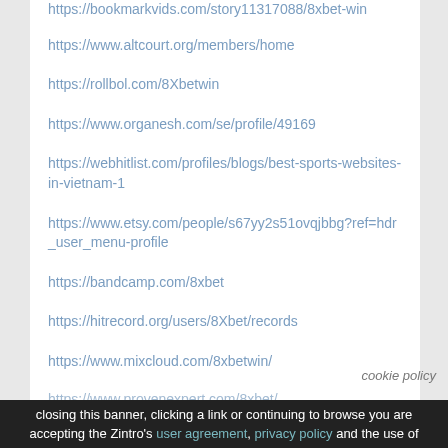https://bookmarkvids.com/story11317088/8xbet-win
https://www.altcourt.org/members/home
https://rollbol.com/8Xbetwin
https://www.organesh.com/se/profile/49169
https://webhitlist.com/profiles/blogs/best-sports-websites-in-vietnam-1
https://www.etsy.com/people/s67yy2s51ovqjbbg?ref=hdr_user_menu-profile
https://bandcamp.com/8xbet
https://hitrecord.org/users/8Xbet/records
https://www.mixcloud.com/8xbetwin/
https://www.provenexpert.com/8xbet/
cookie policy
closing this banner, clicking a link or continuing to browse you are accepting the Zintro's user agreement, privacy policy and the use of